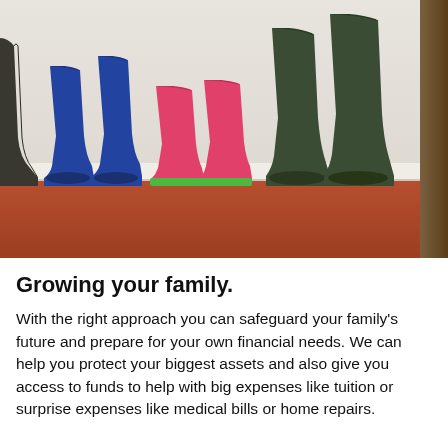[Figure (photo): A row of rain boots/wellies lined up against a wall on a tiled floor: one large dark boot on the far left, two blue boots, two small pink boots with green trim, and two tall dark green boots. A wooden door frame is visible on the right.]
Growing your family.
With the right approach you can safeguard your family's future and prepare for your own financial needs. We can help you protect your biggest assets and also give you access to funds to help with big expenses like tuition or surprise expenses like medical bills or home repairs.